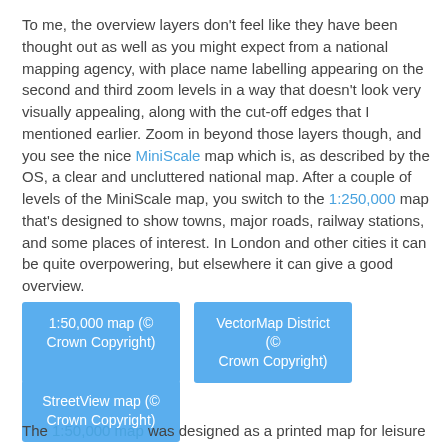To me, the overview layers don't feel like they have been thought out as well as you might expect from a national mapping agency, with place name labelling appearing on the second and third zoom levels in a way that doesn't look very visually appealing, along with the cut-off edges that I mentioned earlier. Zoom in beyond those layers though, and you see the nice MiniScale map which is, as described by the OS, a clear and uncluttered national map. After a couple of levels of the MiniScale map, you switch to the 1:250,000 map that's designed to show towns, major roads, railway stations, and some places of interest. In London and other cities it can be quite overpowering, but elsewhere it can give a good overview.
[Figure (photo): 1:50,000 map (© Crown Copyright)]
[Figure (photo): VectorMap District (© Crown Copyright)]
[Figure (photo): StreetView map (© Crown Copyright)]
The 1:50,000 map was designed as a printed map for leisure